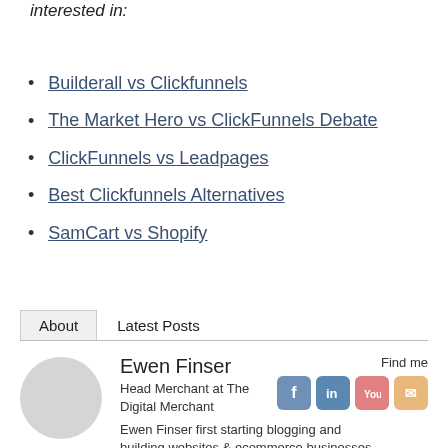Here are some related articles you may be interested in:
Builderall vs Clickfunnels
The Market Hero vs ClickFunnels Debate
ClickFunnels vs Leadpages
Best Clickfunnels Alternatives
SamCart vs Shopify
About   Latest Posts
Ewen Finser
Head Merchant at The Digital Merchant
Ewen Finser first starting blogging and building websites & ecommerce businesses